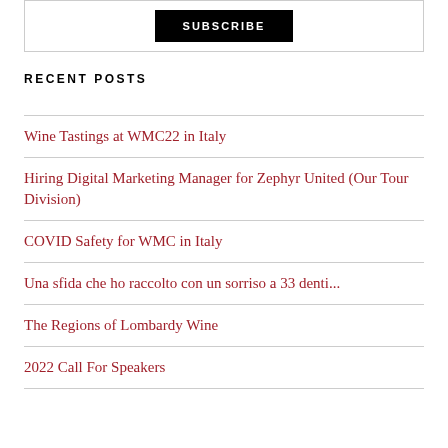RECENT POSTS
Wine Tastings at WMC22 in Italy
Hiring Digital Marketing Manager for Zephyr United (Our Tour Division)
COVID Safety for WMC in Italy
Una sfida che ho raccolto con un sorriso a 33 denti...
The Regions of Lombardy Wine
2022 Call For Speakers